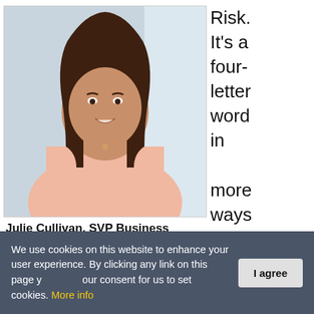[Figure (photo): Portrait photo of Julie Cullivan, a woman with straight brown hair, smiling, wearing a light pink button-up shirt, photographed against a light blue/white background.]
Julie Cullivan, SVP Business
Risk. It's a four-letter word in more ways than one. Fear of risk
We use cookies on this website to enhance your user experience. By clicking any link on this page you give your consent for us to set cookies. More info